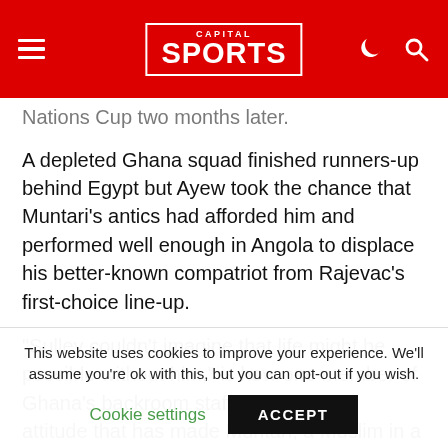CAPITAL SPORTS
Nations Cup two months later.
A depleted Ghana squad finished runners-up behind Egypt but Ayew took the chance that Muntari's antics had afforded him and performed well enough in Angola to displace his better-known compatriot from Rajevac's first-choice line-up.
"Sulley couldn't imagine that life might be possible without him," is how one member of Ghana's backroom staff described the attitude that has made Muntari, a Muslim in a squad dominated by devout Christians, something of an outsider in an otherwise tightly-knit
This website uses cookies to improve your experience. We'll assume you're ok with this, but you can opt-out if you wish.
Cookie settings  ACCEPT